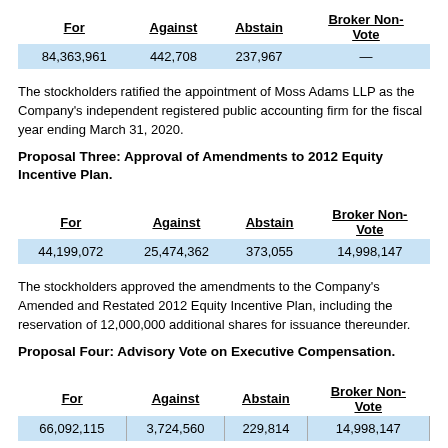| For | Against | Abstain | Broker Non-Vote |
| --- | --- | --- | --- |
| 84,363,961 | 442,708 | 237,967 | — |
The stockholders ratified the appointment of Moss Adams LLP as the Company's independent registered public accounting firm for the fiscal year ending March 31, 2020.
Proposal Three: Approval of Amendments to 2012 Equity Incentive Plan.
| For | Against | Abstain | Broker Non-Vote |
| --- | --- | --- | --- |
| 44,199,072 | 25,474,362 | 373,055 | 14,998,147 |
The stockholders approved the amendments to the Company's Amended and Restated 2012 Equity Incentive Plan, including the reservation of 12,000,000 additional shares for issuance thereunder.
Proposal Four: Advisory Vote on Executive Compensation.
| For | Against | Abstain | Broker Non-Vote |
| --- | --- | --- | --- |
| 66,092,115 | 3,724,560 | 229,814 | 14,998,147 |
The stockholders approved, on an advisory basis, the Company's